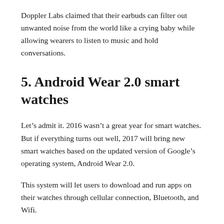Doppler Labs claimed that their earbuds can filter out unwanted noise from the world like a crying baby while allowing wearers to listen to music and hold conversations.
5. Android Wear 2.0 smart watches
Let’s admit it. 2016 wasn’t a great year for smart watches. But if everything turns out well, 2017 will bring new smart watches based on the updated version of Google’s operating system, Android Wear 2.0.
This system will let users to download and run apps on their watches through cellular connection, Bluetooth, and Wifi.
What gadgets are you looking forward to? Let us know in the comments!